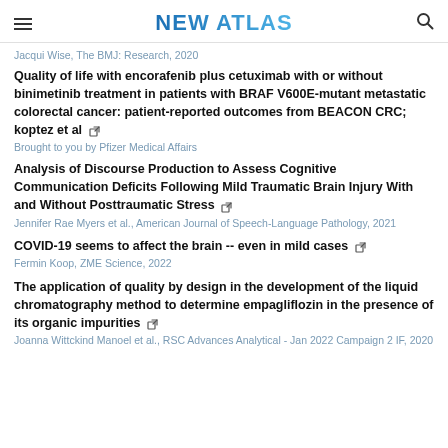NEW ATLAS
Jacqui Wise, The BMJ: Research, 2020
Quality of life with encorafenib plus cetuximab with or without binimetinib treatment in patients with BRAF V600E-mutant metastatic colorectal cancer: patient-reported outcomes from BEACON CRC; koptez et al
Brought to you by Pfizer Medical Affairs
Analysis of Discourse Production to Assess Cognitive Communication Deficits Following Mild Traumatic Brain Injury With and Without Posttraumatic Stress
Jennifer Rae Myers et al., American Journal of Speech-Language Pathology, 2021
COVID-19 seems to affect the brain -- even in mild cases
Fermin Koop, ZME Science, 2022
The application of quality by design in the development of the liquid chromatography method to determine empagliflozin in the presence of its organic impurities
Joanna Wittckind Manoel et al., RSC Advances Analytical - Jan 2022 Campaign 2 IF, 2020